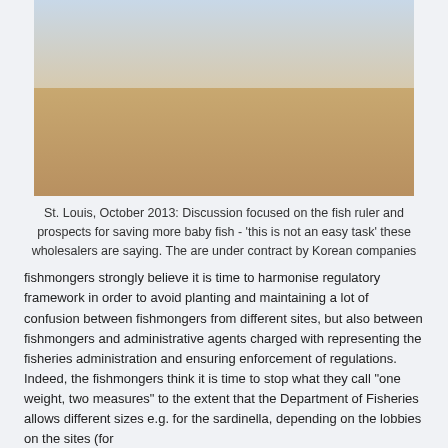[Figure (photo): Outdoor scene in St. Louis, October 2013: Several people discussing, one holding a fish ruler and a small fish. A man in a yellow shirt and white pants is central, interacting with a man in a blue traditional robe and orange/yellow wrap. Another man in a blue shirt stands to the right. Clothing and items typical of West African fishing community.]
St. Louis, October 2013: Discussion focused on the fish ruler and prospects for saving more baby fish - 'this is not an easy task' these wholesalers are saying. The are under contract by Korean companies
fishmongers strongly believe it is time to harmonise regulatory framework in order to avoid planting and maintaining a lot of confusion between fishmongers from different sites, but also between fishmongers and administrative agents charged with representing the fisheries administration and ensuring enforcement of regulations. Indeed, the fishmongers think it is time to stop what they call "one weight, two measures" to the extent that the Department of Fisheries allows different sizes e.g. for the sardinella, depending on the lobbies on the sites (for